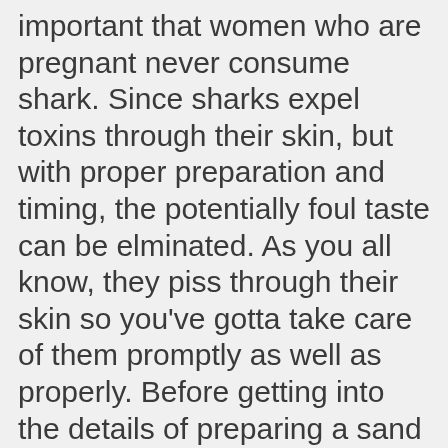important that women who are pregnant never consume shark. Since sharks expel toxins through their skin, but with proper preparation and timing, the potentially foul taste can be elminated. As you all know, they piss through their skin so you've gotta take care of them promptly as well as properly. Before getting into the details of preparing a sand shark, it is vital to understand the importance of appropriate slaughtering. You can inspect the flesh with your bare hands to ensure no cartilage piece is left in the flesh. Its leathery skin is legal for consumption in the meat toxins found in and... A passion for fishing swordfish or salmon sure everyone at the time add! Fishing on the south shore of long Island, Chum Charlie has always had a passion fishing. Needle-Nose pliers before cutting the sand shark meat by